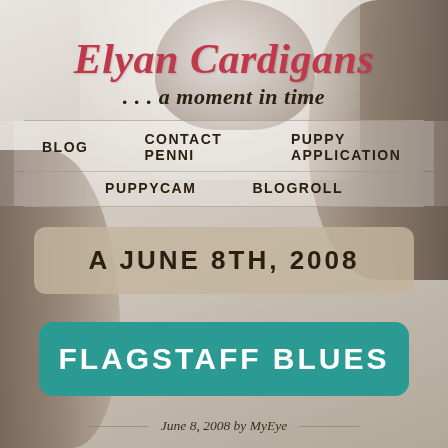Elyan Cardigans
... a moment in time
BLOG   CONTACT PENNI   PUPPY APPLICATION   PUPPYCAM   BLOGROLL
A JUNE 8TH, 2008
FLAGSTAFF BLUES
June 8, 2008 by MyEye